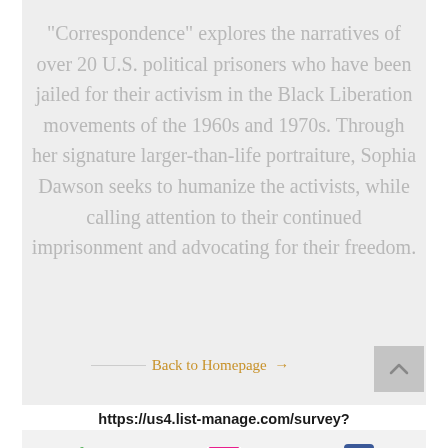“Correspondence” explores the narratives of over 20 U.S. political prisoners who have been jailed for their activism in the Black Liberation movements of the 1960s and 1970s. Through her signature larger-than-life portraiture, Sophia Dawson seeks to humanize the activists, while calling attention to their continued imprisonment and advocating for their freedom.
Back to Homepage →
https://us4.list-manage.com/survey?
[Figure (infographic): Bottom bar with phone icon (green), email icon (pink/red envelope), and Facebook icon (blue)]